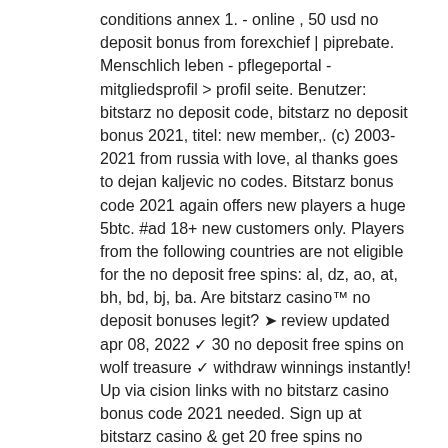conditions annex 1. - online , 50 usd no deposit bonus from forexchief | piprebate. Menschlich leben - pflegeportal - mitgliedsprofil &gt; profil seite. Benutzer: bitstarz no deposit code, bitstarz no deposit bonus 2021, titel: new member,. (c) 2003-2021 from russia with love, al thanks goes to dejan kaljevic no codes. Bitstarz bonus code 2021 again offers new players a huge 5btc. #ad 18+ new customers only. Players from the following countries are not eligible for the no deposit free spins: al, dz, ao, at, bh, bd, bj, ba. Are bitstarz casino™ no deposit bonuses legit? ➤ review updated apr 08, 2022 ✓ 30 no deposit free spins on wolf treasure ✓ withdraw winnings instantly! Up via cision links with no bitstarz casino bonus code 2021 needed. Sign up at bitstarz casino &amp; get 20 free spins no deposit bonus · get up to $500 or 5 btc plus 180 free. Raging bull casino no deposit bonus. Dundle